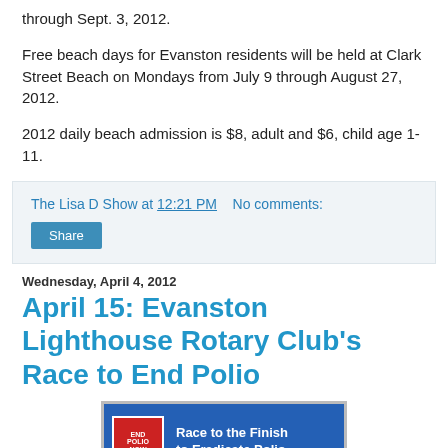through Sept. 3, 2012.
Free beach days for Evanston residents will be held at Clark Street Beach on Mondays from July 9 through August 27, 2012.
2012 daily beach admission is $8, adult and $6, child age 1-11.
The Lisa D Show at 12:21 PM   No comments:
Share
Wednesday, April 4, 2012
April 15: Evanston Lighthouse Rotary Club's Race to End Polio
[Figure (photo): Blue banner sign reading 'Race to the Finish to Eradicate Polio' with End Polio Now logo on the left]